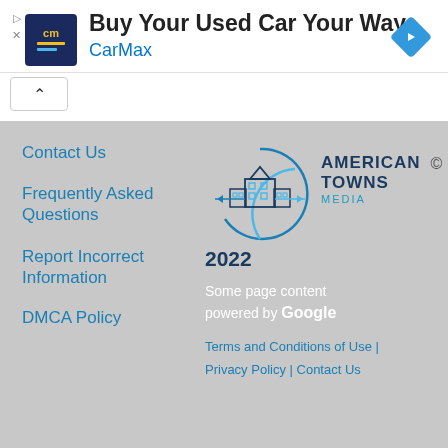[Figure (logo): CarMax advertisement banner with CM logo icon, title 'Buy Your Used Car Your Way', brand 'CarMax' in blue, and blue diamond navigation arrow icon]
[Figure (logo): American Towns Media circular logo with building/town illustration]
Contact Us
Frequently Asked Questions
Report Incorrect Information
DMCA Policy
2022
Some page content powered by Google
Terms and Conditions of Use | Privacy Policy | Contact Us